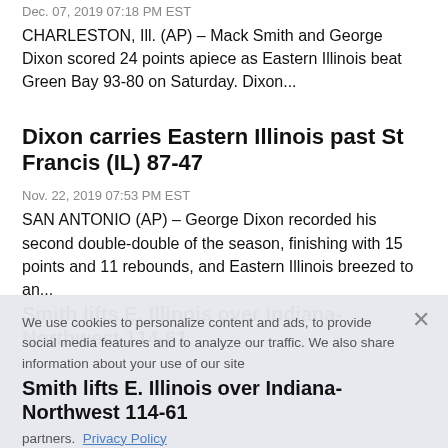Dec. 07, 2019 07:18 PM EST
CHARLESTON, Ill. (AP) – Mack Smith and George Dixon scored 24 points apiece as Eastern Illinois beat Green Bay 93-80 on Saturday. Dixon...
Dixon carries Eastern Illinois past St Francis (IL) 87-47
Nov. 22, 2019 07:53 PM EST
SAN ANTONIO (AP) – George Dixon recorded his second double-double of the season, finishing with 15 points and 11 rebounds, and Eastern Illinois breezed to an...
Smith lifts E. Illinois over Indiana-Northwest 114-61
Nov. 18, 2019 11:29 PM EST
CHARLESTON, Ill. (AP) – Mack Smith scored 17 points as Eastern Illinois routed NAIA-member Indiana-Northwest 114-61 on Monday night. George...
We use cookies to personalize content and ads, to provide social media features and to analyze our traffic. We also share information about your use of our site with our advertising and analytics partners. Privacy Policy
Cookies Settings | Accept All Cookies